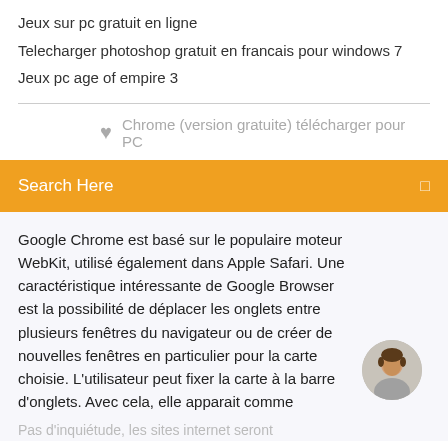Jeux sur pc gratuit en ligne
Telecharger photoshop gratuit en francais pour windows 7
Jeux pc age of empire 3
♥  Chrome (version gratuite) télécharger pour PC
Search Here
Google Chrome est basé sur le populaire moteur WebKit, utilisé également dans Apple Safari. Une caractéristique intéressante de Google Browser est la possibilité de déplacer les onglets entre plusieurs fenêtres du navigateur ou de créer de nouvelles fenêtres en particulier pour la carte choisie. L'utilisateur peut fixer la carte à la barre d'onglets. Avec cela, elle apparait comme
Pas d'inquiétude, les sites internet seront